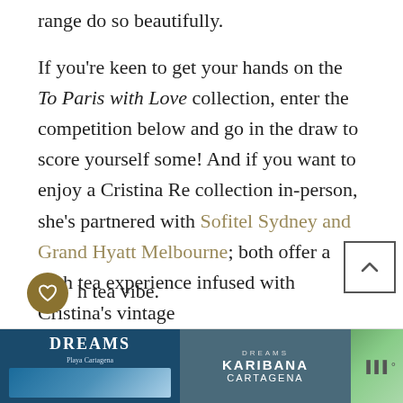range do so beautifully.
If you're keen to get your hands on the To Paris with Love collection, enter the competition below and go in the draw to score yourself some! And if you want to enjoy a Cristina Re collection in-person, she's partnered with Sofitel Sydney and Grand Hyatt Melbourne; both offer a high tea experience infused with Cristina's vintage high tea vibe.
ind out more, jump onto the Cristina Re
website here
[Figure (other): Advertisement banner for Dreams Karibana Cartagena resort, showing resort imagery and brand name with a close button.]